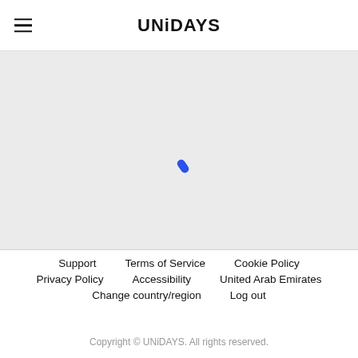UNiDAYS
[Figure (map): A grey loading/map area with a small blue loading indicator dot in the center]
Support
Terms of Service
Cookie Policy
Privacy Policy
Accessibility
United Arab Emirates
Change country/region
Log out
Copyright © UNiDAYS. All rights reserved.